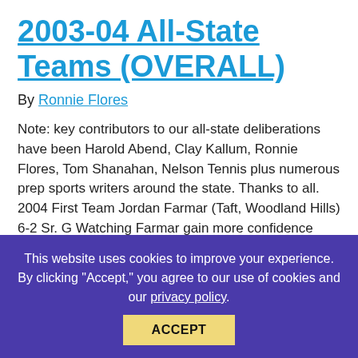2003-04 All-State Teams (OVERALL)
By Ronnie Flores
Note: key contributors to our all-state deliberations have been Harold Abend, Clay Kallum, Ronnie Flores, Tom Shanahan, Nelson Tennis plus numerous prep sports writers around the state. Thanks to all. 2004 First Team Jordan Farmar (Taft, Woodland Hills) 6-2 Sr. G Watching Farmar gain more confidence over the last 18 months has been really something....
This content is for Gold Club, Gold Club Quarterly, and Gold...
This website uses cookies to improve your experience. By clicking "Accept," you agree to our use of cookies and our privacy policy.